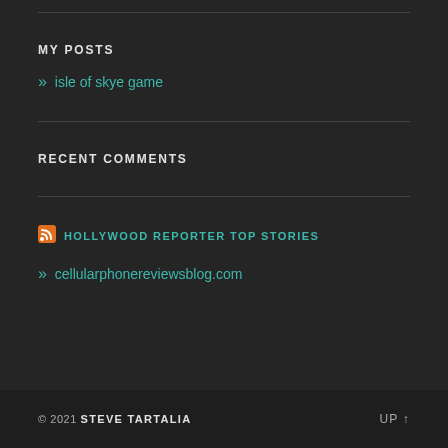MY POSTS
» isle of skye game
RECENT COMMENTS
[Figure (logo): RSS feed icon (orange square with white radio waves)]
HOLLYWOOD REPORTER TOP STORIES
» cellularphonereviewsblog.com
© 2021 STEVE TARTALIA   UP ↑